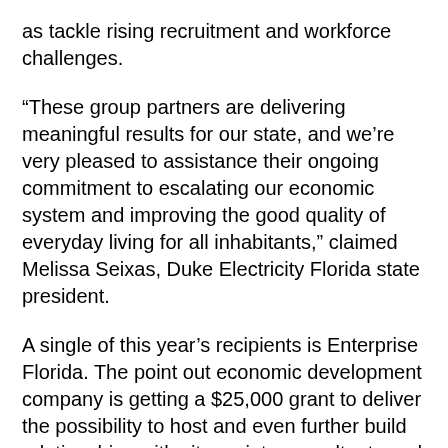as tackle rising recruitment and workforce challenges.
“These group partners are delivering meaningful results for our state, and we’re very pleased to assistance their ongoing commitment to escalating our economic system and improving the good quality of everyday living for all inhabitants,” claimed Melissa Seixas, Duke Electricity Florida state president.
A single of this year’s recipients is Enterprise Florida. The point out economic development company is getting a $25,000 grant to deliver the possibility to host and even further build relationships with site variety consultants and company true estate executives in attendance at the Team Florida situations. These occasions will enable to improve the perceptions of undertaking business enterprise in Florida and make consciousness of the prospects in the condition.
“Enterprise Florida is grateful for the continued financial commitment and partnership in Workforce Florida,” mentioned